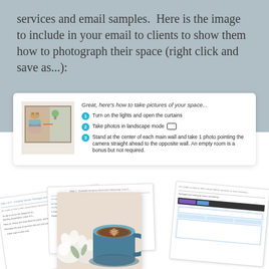services and email samples.  Here is the image to include in your email to clients to show them how to photograph their space (right click and save as...):
[Figure (infographic): A white card with a floor plan image on the left and three numbered teal bullet instructions on the right: (1) Turn on the lights and open the curtains, (2) Take photos in landscape mode [phone icon], (3) Stand at the center of each main wall and take 1 photo pointing the camera straight ahead to the opposite wall. An empty room is a bonus but not required.]
[Figure (photo): A collage of document pages fanned out, overlaid with a photo of a latte coffee cup with a flower arrangement, and a screenshot of a scheduling/booking interface.]